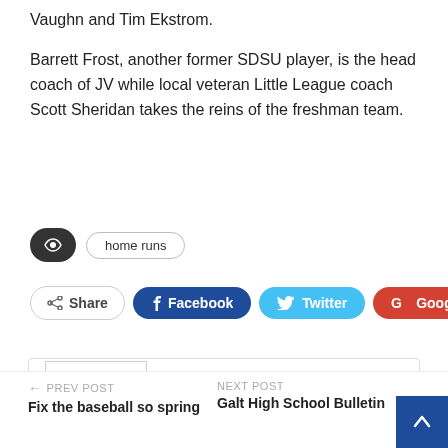Vaughn and Tim Ekstrom.
Barrett Frost, another former SDSU player, is the head coach of JV while local veteran Little League coach Scott Sheridan takes the reins of the freshman team.
[Figure (infographic): Tag icon (dark pill) and 'home runs' tag label]
[Figure (infographic): Social share buttons: Share, Facebook, Twitter, Google+, plus]
[Figure (infographic): Author card with placeholder photo, name Don S. Sipe, globe icon]
← PREV POST
Fix the baseball so spring
NEXT POST
Galt High School Bulletin